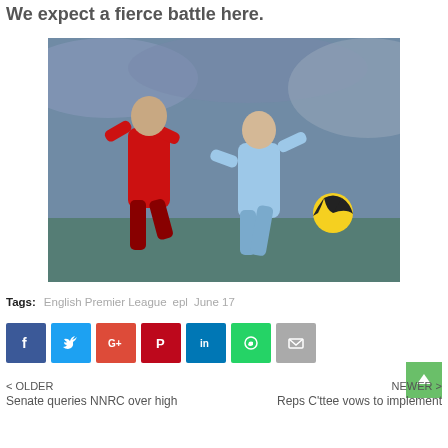We expect a fierce battle here.
[Figure (photo): Two soccer players — one in a red Liverpool kit and one in a light blue Manchester City kit — competing for the ball during a Premier League match, with a crowd in the background.]
Tags: English Premier League  epl  June 17
[Figure (infographic): Social sharing buttons: Facebook, Twitter, Google+, Pinterest, LinkedIn, WhatsApp, Email]
< OLDER  Senate queries NNRC over high ... | NEWER >  Reps C'ttee vows to implement ...